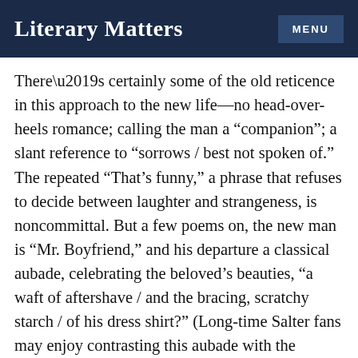Literary Matters
There’s certainly some of the old reticence in this approach to the new life—no head-over-heels romance; calling the man a “companion”; a slant reference to “sorrows / best not spoken of.” The repeated “That’s funny,” a phrase that refuses to decide between laughter and strangeness, is noncommittal. But a few poems on, the new man is “Mr. Boyfriend,” and his departure a classical aubade, celebrating the beloved’s beauties, “a waft of aftershave / and the bracing, scratchy starch / of his dress shirt?” (Long-time Salter fans may enjoy contrasting this aubade with the “Aubade for Brad” of an earlier partner, in an earlier book.) Later in the book, in “Little Men,” she becomes direct about